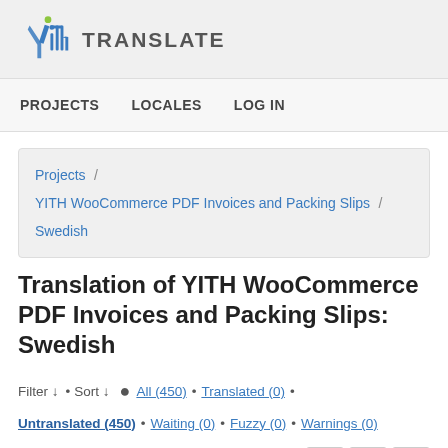YITH TRANSLATE
PROJECTS · LOCALES · LOG IN
Projects / YITH WooCommerce PDF Invoices and Packing Slips / Swedish
Translation of YITH WooCommerce PDF Invoices and Packing Slips: Swedish
Filter ↓ • Sort ↓ ● All (450) • Translated (0) • Untranslated (450) • Waiting (0) • Fuzzy (0) • Warnings (0)